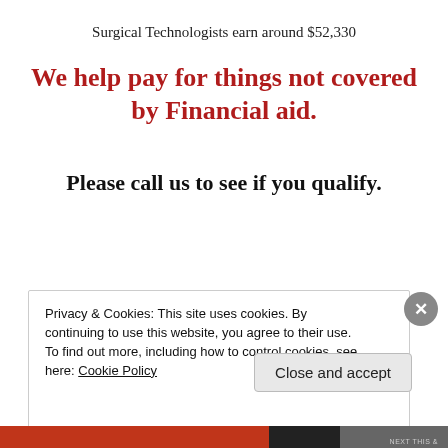Surgical Technologists earn around $52,330
We help pay for things not covered by Financial aid.
Please call us to see if you qualify.
Privacy & Cookies: This site uses cookies. By continuing to use this website, you agree to their use.
To find out more, including how to control cookies, see here: Cookie Policy
Close and accept